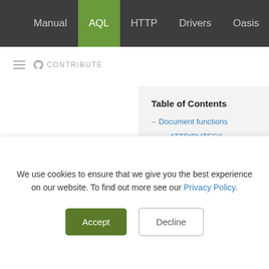Manual | AQL | HTTP | Drivers | Oasis
≡  ⊙ CONTRIBUTE
Table of Contents
– Document functions
– ATTRIBUTES()
– COUNT()
– HAS()
– IS_SAME_COLLECTION()
– KEEP()
– LENGTH()
We use cookies to ensure that we give you the best experience on our website. To find out more see our Privacy Policy.